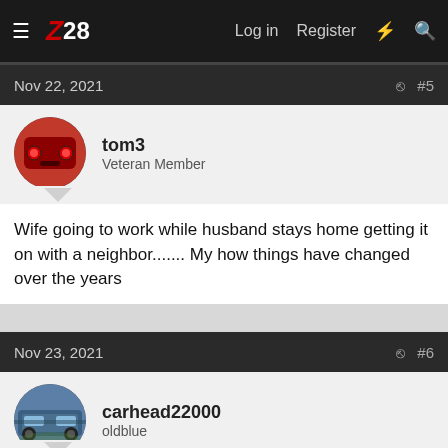Z28 — Log in  Register
Nov 22, 2021  #5
tom3
Veteran Member
Wife going to work while husband stays home getting it on with a neighbor....... My how things have changed over the years
Nov 23, 2021  #6
carhead22000
oldblue